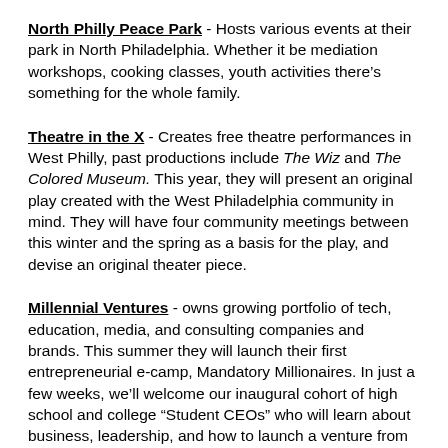North Philly Peace Park - Hosts various events at their park in North Philadelphia. Whether it be mediation workshops, cooking classes, youth activities there's something for the whole family.
Theatre in the X - Creates free theatre performances in West Philly, past productions include The Wiz and The Colored Museum. This year, they will present an original play created with the West Philadelphia community in mind. They will have four community meetings between this winter and the spring as a basis for the play, and devise an original theater piece.
Millennial Ventures - owns growing portfolio of tech, education, media, and consulting companies and brands. This summer they will launch their first entrepreneurial e-camp, Mandatory Millionaires. In just a few weeks, we'll welcome our inaugural cohort of high school and college "Student CEOs" who will learn about business, leadership, and how to launch a venture from